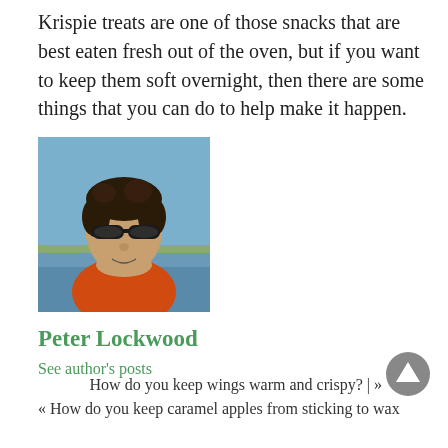Krispie treats are one of those snacks that are best eaten fresh out of the oven, but if you want to keep them soft overnight, then there are some things that you can do to help make it happen.
[Figure (photo): Headshot photo of a man with sunglasses and curly dark hair, wearing an orange jacket, outdoors near water.]
Peter Lockwood
See author's posts
How do you keep wings warm and crispy? |»
« How do you keep caramel apples from sticking to wax